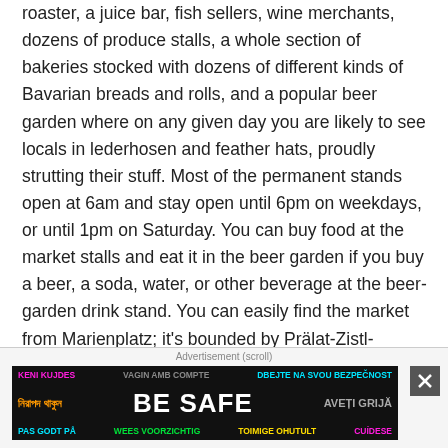roaster, a juice bar, fish sellers, wine merchants, dozens of produce stalls, a whole section of bakeries stocked with dozens of different kinds of Bavarian breads and rolls, and a popular beer garden where on any given day you are likely to see locals in lederhosen and feather hats, proudly strutting their stuff. Most of the permanent stands open at 6am and stay open until 6pm on weekdays, or until 1pm on Saturday. You can buy food at the market stalls and eat it in the beer garden if you buy a beer, a soda, water, or other beverage at the beer-garden drink stand. You can easily find the market from Marienplatz; it's bounded by Prälat-Zistl-Strasse on the west, Frauen Strasse to the south, Heiliggeiststrasse on the east, and Tal on the north.
[Figure (other): Advertisement banner: 'BE SAFE' multilingual safety ad with colored text in multiple languages including Bengali, Albanian, Catalan, Czech, Romanian, Norwegian, Dutch, Finnish, Spanish, and English.]